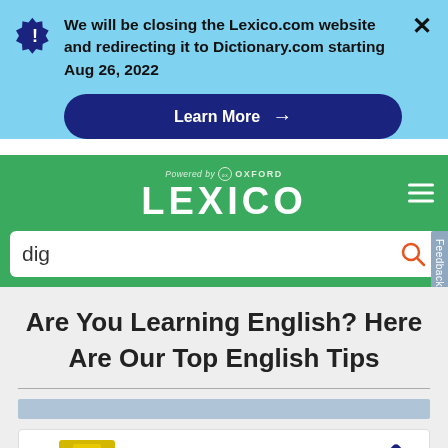We will be closing the Lexico.com website and redirecting it to Dictionary.com starting Aug 26, 2022
[Figure (screenshot): Learn More button with arrow on dark blue background]
[Figure (logo): Lexico logo powered by Oxford on green background with hamburger menu]
[Figure (screenshot): Search bar with text 'dig' and orange search icon]
Are You Learning English? Here Are Our Top English Tips
[Figure (screenshot): Lidl advertisement - Suspiciously Low Prices]
Feedback